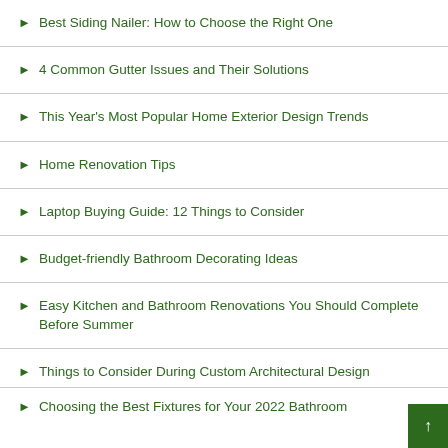Best Siding Nailer: How to Choose the Right One
4 Common Gutter Issues and Their Solutions
This Year's Most Popular Home Exterior Design Trends
Home Renovation Tips
Laptop Buying Guide: 12 Things to Consider
Budget-friendly Bathroom Decorating Ideas
Easy Kitchen and Bathroom Renovations You Should Complete Before Summer
Things to Consider During Custom Architectural Design
Choosing the Best Fixtures for Your 2022 Bathroom